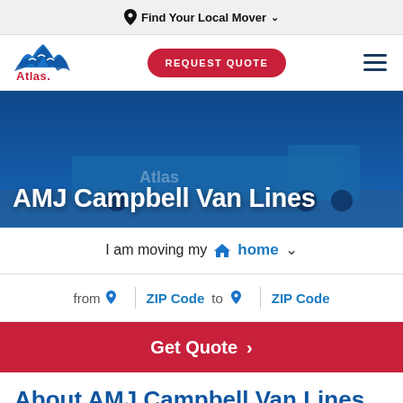📍 Find Your Local Mover ∨
[Figure (logo): Atlas Van Lines logo — blue mountain/wave shape with 'Atlas.' text in red below]
REQUEST QUOTE
AMJ Campbell Van Lines
I am moving my 🏠 home ∨
from 📍 ZIP Code  to 📍 ZIP Code
Get Quote  ›
About AMJ Campbell Van Lines